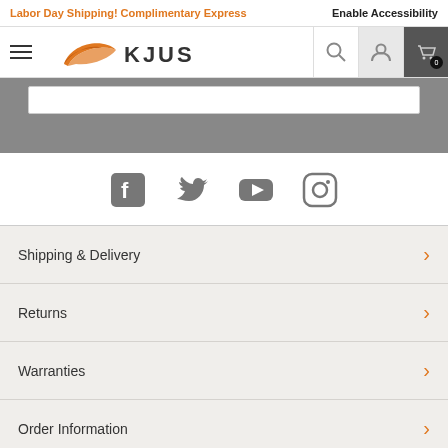Labor Day Shipping! Complimentary Express
Enable Accessibility
[Figure (logo): KJUS brand logo with swoosh icon and KJUS text]
[Figure (infographic): Social media icons: Facebook, Twitter, YouTube, Instagram]
Shipping & Delivery
Returns
Warranties
Order Information